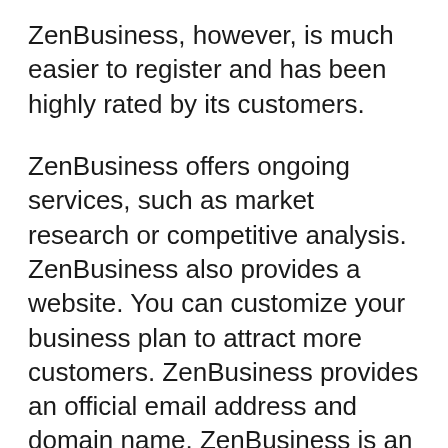ZenBusiness, however, is much easier to register and has been highly rated by its customers.
ZenBusiness offers ongoing services, such as market research or competitive analysis. ZenBusiness also provides a website. You can customize your business plan to attract more customers. ZenBusiness provides an official email address and domain name. ZenBusiness is an affordable option for small businesses, despite the higher price. Their registered agent services can be used to manage your company's legal requirements. The best thing about ZenBusiness is that it has a proven track record of customer service and is backed by thousands of satisfied customers.